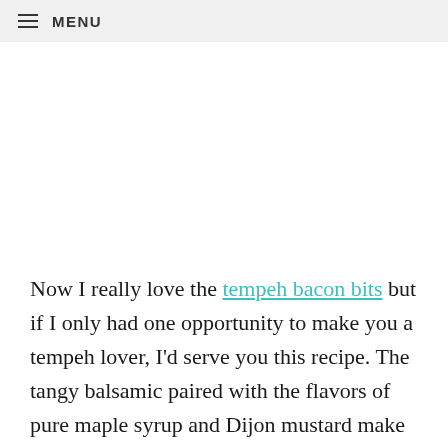MENU
Now I really love the tempeh bacon bits but if I only had one opportunity to make you a tempeh lover, I'd serve you this recipe. The tangy balsamic paired with the flavors of pure maple syrup and Dijon mustard make for one phenomenal combo.
If you're one of those people that doesn't like to plan